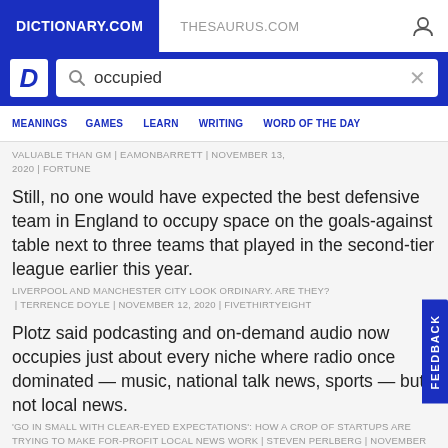DICTIONARY.COM   THESAURUS.COM
[Figure (screenshot): Dictionary.com logo with white D on blue background and search box with 'occupied' query]
MEANINGS   GAMES   LEARN   WRITING   WORD OF THE DAY
VALUABLE THAN GM | EAMONBARRETT | NOVEMBER 13, 2020 | FORTUNE
Still, no one would have expected the best defensive team in England to occupy space on the goals-against table next to three teams that played in the second-tier league earlier this year.
LIVERPOOL AND MANCHESTER CITY LOOK ORDINARY. ARE THEY? | TERRENCE DOYLE | NOVEMBER 12, 2020 | FIVETHIRTYEIGHT
Plotz said podcasting and on-demand audio now occupies just about every niche where radio once dominated — music, national talk news, sports — but not local news.
'GO IN SMALL WITH CLEAR-EYED EXPECTATIONS': HOW A CROP OF STARTUPS ARE TRYING TO MAKE FOR-PROFIT LOCAL NEWS WORK | STEVEN PERLBERG | NOVEMBER 11, 2020 | DIGIDAY